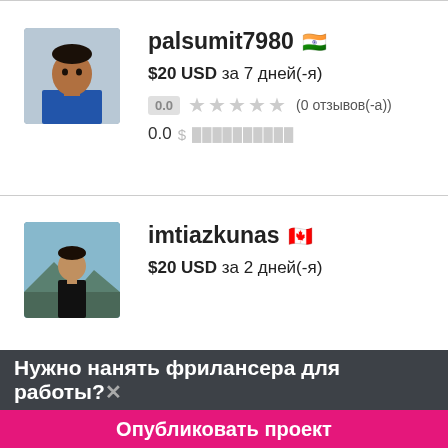[Figure (photo): Profile photo of palsumit7980, young man, dark background]
palsumit7980 🇮🇳
$20 USD за 7 дней(-я)
0.0 ★★★★★ (0 отзывов(-а))
0.0 $
[Figure (photo): Profile photo of imtiazkunas, man in dark clothes, mountain scenery background]
imtiazkunas 🇨🇦
$20 USD за 2 дней(-я)
Нужно нанять фрилансера для работы?✕
Опубликовать проект